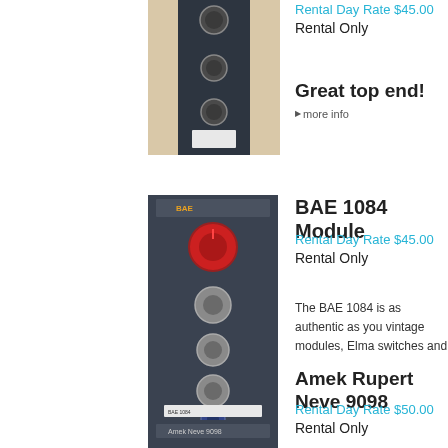[Figure (photo): Audio rack module unit - partially visible at top of page, dark colored equipment]
Rental Day Rate $45.00
Rental Only
Great top end! more info
[Figure (photo): BAE 1084 Module - tall dark audio rack module with red and silver knobs]
BAE 1084 Module
Rental Day Rate $45.00
Rental Only
The BAE 1084 is as authentic as you vintage modules, Elma switches and
Amek Rupert Neve 9098
Rental Day Rate $50.00
Rental Only
[Figure (photo): Amek Rupert Neve 9098 module - partially visible at bottom of page]